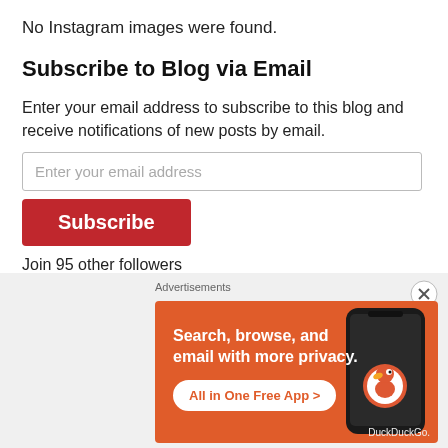No Instagram images were found.
Subscribe to Blog via Email
Enter your email address to subscribe to this blog and receive notifications of new posts by email.
Enter your email address
Subscribe
Join 95 other followers
Recent Posts
[Figure (screenshot): DuckDuckGo advertisement banner with orange background. Text reads 'Search, browse, and email with more privacy. All in One Free App' with a phone image showing DuckDuckGo logo.]